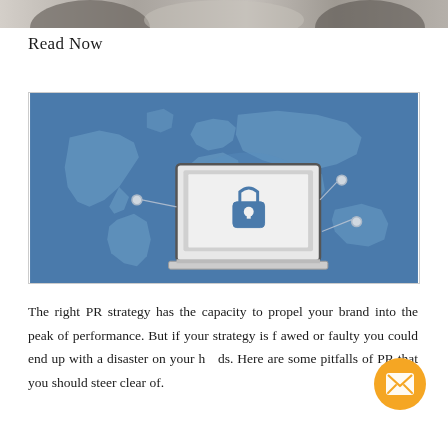[Figure (photo): Partial photo at top of page, cropped — shows people at a table (meeting/coffee scene), gray tones]
Read Now
[Figure (illustration): Cybersecurity illustration: blue background with a world map silhouette, a laptop in the center displaying a padlock icon, with connecting lines and dots suggesting global network security]
The right PR strategy has the capacity to propel your brand into the peak of performance. But if your strategy is flawed or faulty you could end up with a disaster on your hands. Here are some pitfalls of PR that you should steer clear of.